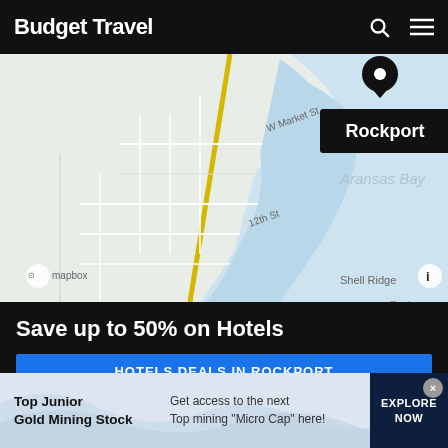Budget Travel
[Figure (map): Mapbox map showing Rockport, Texas area with location pin, street labels (W Market St, 12th St, Shell Ridge), and Aransas Bay water body. Black tooltip shows 'Rockport'.]
Save up to 50% on Hotels
HOTELS DEALS IN ROCKPORT
[Figure (infographic): Advertisement banner: 'Top Junior Gold Mining Stock' - Get access to the next Top mining "Micro Cap" here! EXPLORE NOW]